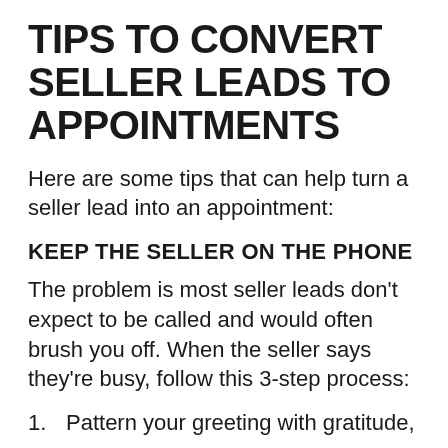TIPS TO CONVERT SELLER LEADS TO APPOINTMENTS
Here are some tips that can help turn a seller lead into an appointment:
KEEP THE SELLER ON THE PHONE
The problem is most seller leads don't expect to be called and would often brush you off. When the seller says they're busy, follow this 3-step process:
Pattern your greeting with gratitude,